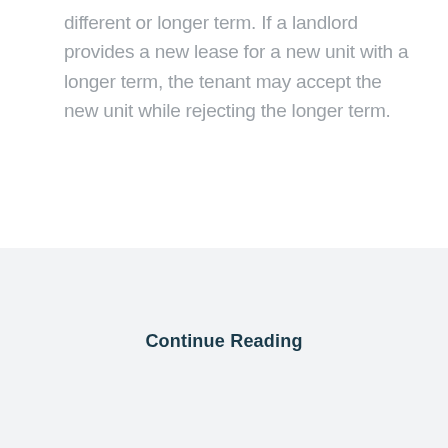different or longer term. If a landlord provides a new lease for a new unit with a longer term, the tenant may accept the new unit while rejecting the longer term.
Continue Reading